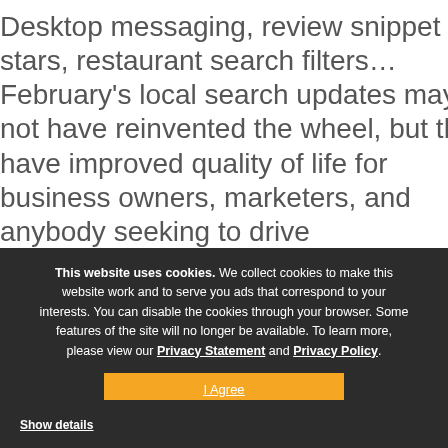Desktop messaging, review snippet stars, restaurant search filters… February's local search updates may not have reinvented the wheel, but they have improved quality of life for business owners, marketers, and anybody seeking to drive
This website uses cookies. We collect cookies to make this website work and to serve you ads that correspond to your interests. You can disable the cookies through your browser. Some features of the site will no longer be available. To learn more, please view our Privacy Statement and Privacy Policy.
I Agree
No, Thank You
Show details